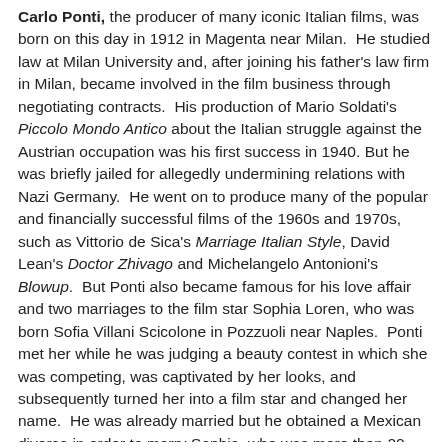Carlo Ponti, the producer of many iconic Italian films, was born on this day in 1912 in Magenta near Milan. He studied law at Milan University and, after joining his father's law firm in Milan, became involved in the film business through negotiating contracts. His production of Mario Soldati's Piccolo Mondo Antico about the Italian struggle against the Austrian occupation was his first success in 1940. But he was briefly jailed for allegedly undermining relations with Nazi Germany. He went on to produce many of the popular and financially successful films of the 1960s and 1970s, such as Vittorio de Sica's Marriage Italian Style, David Lean's Doctor Zhivago and Michelangelo Antonioni's Blowup. But Ponti also became famous for his love affair and two marriages to the film star Sophia Loren, who was born Sofia Villani Scicolone in Pozzuoli near Naples. Ponti met her while he was judging a beauty contest in which she was competing, was captivated by her looks, and subsequently turned her into a film star and changed her name. He was already married but he obtained a Mexican divorce in order to marry Sophia, who was more than 20 years younger than him, as divorce was then forbidden in Italy. Read more...